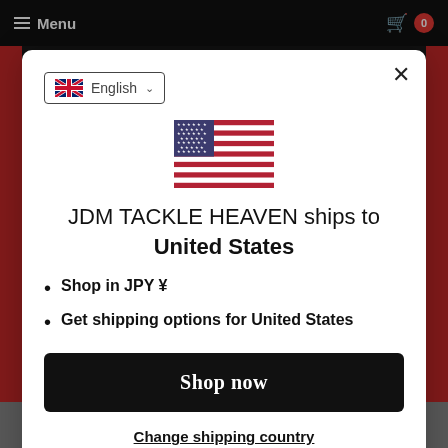Menu  0
[Figure (screenshot): Modal dialog with UK flag language selector (English), US flag, shipping destination message, bullet points, Shop now button, and Change shipping country link.]
JDM TACKLE HEAVEN ships to United States
Shop in JPY ¥
Get shipping options for United States
Shop now
Change shipping country